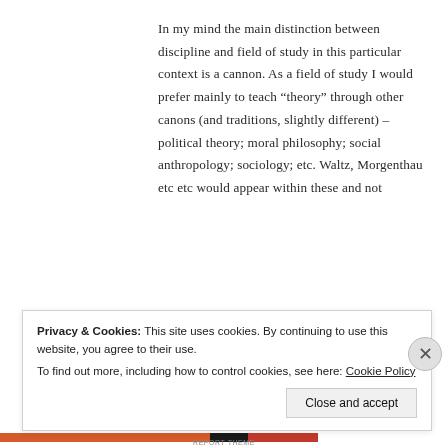In my mind the main distinction between discipline and field of study in this particular context is a cannon. As a field of study I would prefer mainly to teach “theory” through other canons (and traditions, slightly different) – political theory; moral philosophy; social anthropology; sociology; etc. Waltz, Morgenthau etc etc would appear within these and not
Privacy & Cookies: This site uses cookies. By continuing to use this website, you agree to their use.
To find out more, including how to control cookies, see here: Cookie Policy
Close and accept